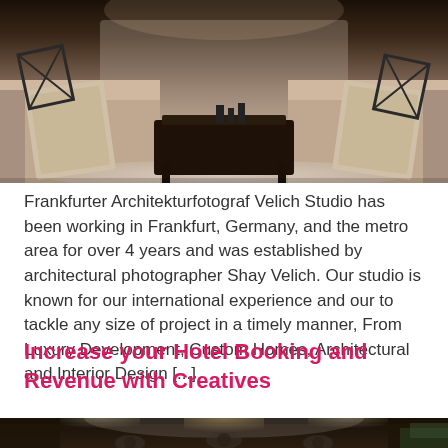[Figure (photo): Interior living room photo showing beige sofas with decorative pillows and metallic sculptural accents, a dark wooden coffee table with candles in the center, and a light fur/shag rug on the floor.]
Frankfurter Architekturfotograf Velich Studio has been working in Frankfurt, Germany, and the metro area for over 4 years and was established by architectural photographer Shay Velich. Our studio is known for our international experience and our to tackle any size of project in a timely manner, From Luxury Development, Custom Homes, Architectural and Interior Design [...]
Increase your Hotel Booking and Revenue with Creatives
[Figure (photo): Hotel lobby interior with dark wood paneling, recessed ceiling lighting, a dramatic curved white ceiling feature, pendant globe lights, and lush greenery visible in the background.]